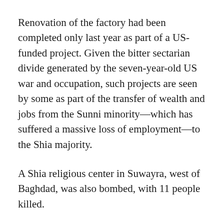Renovation of the factory had been completed only last year as part of a US-funded project. Given the bitter sectarian divide generated by the seven-year-old US war and occupation, such projects are seen by some as part of the transfer of wealth and jobs from the Sunni minority—which has suffered a massive loss of employment—to the Shia majority.
A Shia religious center in Suwayra, west of Baghdad, was also bombed, with 11 people killed.
The level of killing was comparable to the bloodiest days of 2006-2007, before the US military “surge” that had supposedly pacified Iraq and paved the way toward the handing off of security operations from American troops to the Iraqi security forces.
The new wave of violence has underscored, however, that nothing has been resolved through the problems of the US...